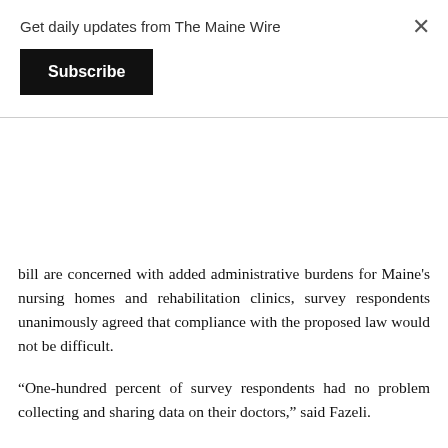Get daily updates from The Maine Wire
Subscribe
bill are concerned with added administrative burdens for Maine's nursing homes and rehabilitation clinics, survey respondents unanimously agreed that compliance with the proposed law would not be difficult.
“One-hundred percent of survey respondents had no problem collecting and sharing data on their doctors,” said Fazeli.
Fazeli said the Maine Hospital Association’s desire to have conflict-of-interest disclosures administered by a central government agency is really a way of killing the bill.
“We would have to wait for some central place, some